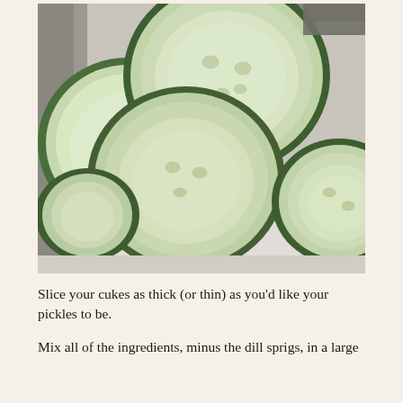[Figure (photo): Close-up photo of sliced cucumber rounds in a white bowl, viewed from above. The cucumber slices are overlapping, showing their light green interior and dark green skin. Additional cucumber slices are visible outside the bowl to the right.]
Slice your cukes as thick (or thin) as you'd like your pickles to be.
Mix all of the ingredients, minus the dill sprigs, in a large